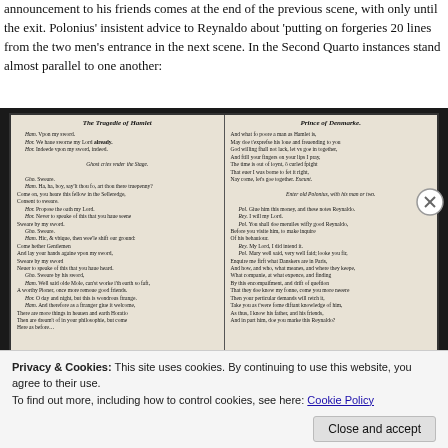announcement to his friends comes at the end of the previous scene, with only until the exit. Polonius’ insistent advice to Reynaldo about ‘putting on forgeries 20 lines from the two men’s entrance in the next scene. In the Second Quarto instances stand almost parallel to one another:
[Figure (photo): Facsimile of two pages from early printed editions of Hamlet: left column shows 'The Tragedie of Hamlet' and right column shows 'Prince of Denmarke', with Early Modern English typography showing dialogue between characters.]
Privacy & Cookies: This site uses cookies. By continuing to use this website, you agree to their use. To find out more, including how to control cookies, see here: Cookie Policy
Close and accept